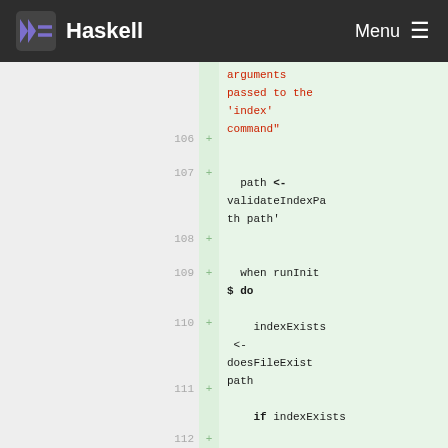Haskell | Menu
[Figure (screenshot): Haskell code diff viewer showing lines 106-112 with added lines (green background). Lines show Haskell code including path <- validateIndexPath path', when runInit $ do, indexExists <- doesFileExist path, if indexExists, then die $ "index already exists: '" ++]
arguments passed to the 'index' command"
path <- validateIndexPath path'
when runInit $ do
indexExists <- doesFileExist path
if indexExists
then die $ "index already exists: '" ++